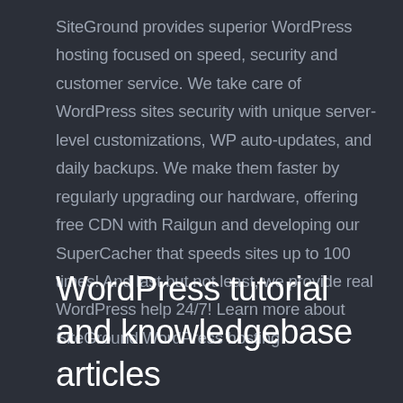SiteGround provides superior WordPress hosting focused on speed, security and customer service. We take care of WordPress sites security with unique server-level customizations, WP auto-updates, and daily backups. We make them faster by regularly upgrading our hardware, offering free CDN with Railgun and developing our SuperCacher that speeds sites up to 100 times! And last but not least, we provide real WordPress help 24/7! Learn more about SiteGround WordPress hosting
WordPress tutorial and knowledgebase articles